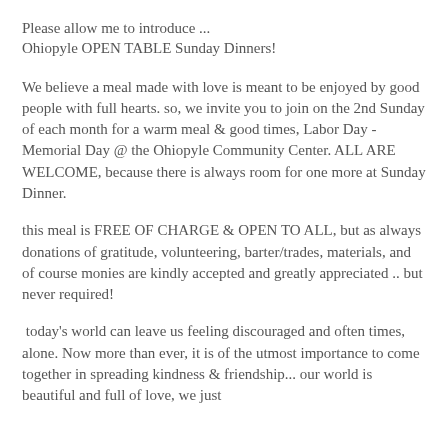Please allow me to introduce ...
Ohiopyle OPEN TABLE Sunday Dinners!
We believe a meal made with love is meant to be enjoyed by good people with full hearts. so, we invite you to join on the 2nd Sunday of each month for a warm meal & good times, Labor Day - Memorial Day @ the Ohiopyle Community Center. ALL ARE WELCOME, because there is always room for one more at Sunday Dinner.
this meal is FREE OF CHARGE & OPEN TO ALL, but as always donations of gratitude, volunteering, barter/trades, materials, and of course monies are kindly accepted and greatly appreciated .. but never required!
today's world can leave us feeling discouraged and often times, alone. Now more than ever, it is of the utmost importance to come together in spreading kindness & friendship... our world is beautiful and full of love, we just